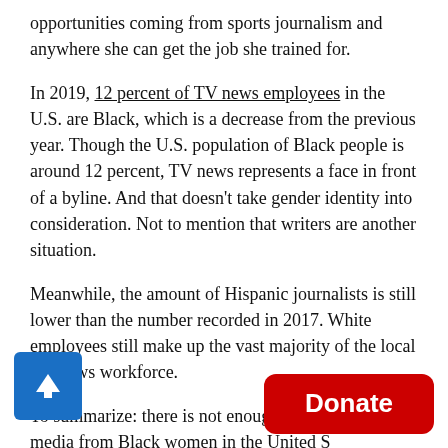opportunities coming from sports journalism and anywhere she can get the job she trained for.
In 2019, 12 percent of TV news employees in the U.S. are Black, which is a decrease from the previous year. Though the U.S. population of Black people is around 12 percent, TV news represents a face in front of a byline. And that doesn't take gender identity into consideration. Not to mention that writers are another situation.
Meanwhile, the amount of Hispanic journalists is still lower than the number recorded in 2017. White employees still make up the vast majority of the local TV news workforce.
To summarize: there is not enough representation in media from Black women in the United S...